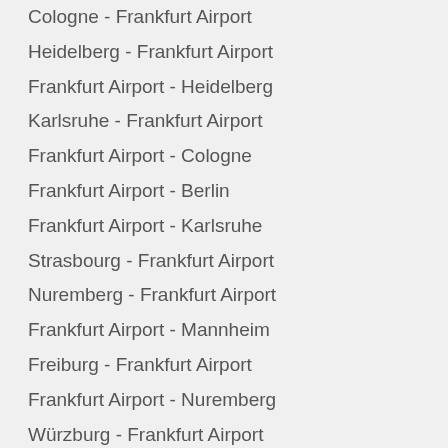Cologne - Frankfurt Airport
Heidelberg - Frankfurt Airport
Frankfurt Airport - Heidelberg
Karlsruhe - Frankfurt Airport
Frankfurt Airport - Cologne
Frankfurt Airport - Berlin
Frankfurt Airport - Karlsruhe
Strasbourg - Frankfurt Airport
Nuremberg - Frankfurt Airport
Frankfurt Airport - Mannheim
Freiburg - Frankfurt Airport
Frankfurt Airport - Nuremberg
Würzburg - Frankfurt Airport
Munich - Frankfurt Airport
Frankfurt Airport - Strasbourg
Frankfurt Airport - Munich